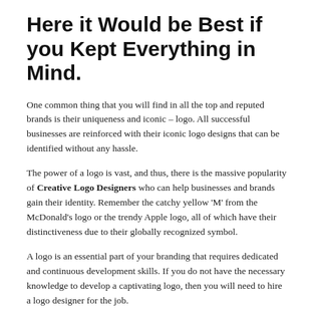Here it Would be Best if you Kept Everything in Mind.
One common thing that you will find in all the top and reputed brands is their uniqueness and iconic – logo. All successful businesses are reinforced with their iconic logo designs that can be identified without any hassle.
The power of a logo is vast, and thus, there is the massive popularity of Creative Logo Designers who can help businesses and brands gain their identity. Remember the catchy yellow 'M' from the McDonald's logo or the trendy Apple logo, all of which have their distinctiveness due to their globally recognized symbol.
A logo is an essential part of your branding that requires dedicated and continuous development skills. If you do not have the necessary knowledge to develop a captivating logo, then you will need to hire a logo designer for the job.
It is quite essential to get your brand logo properly, which can only be done with a professional's help. But really, why should you go